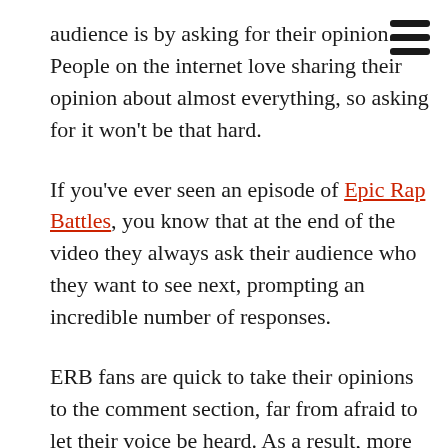audience is by asking for their opinion. People on the internet love sharing their opinion about almost everything, so asking for it won't be that hard.
If you've ever seen an episode of Epic Rap Battles, you know that at the end of the video they always ask their audience who they want to see next, prompting an incredible number of responses.
ERB fans are quick to take their opinions to the comment section, far from afraid to let their voice be heard. As a result, more and more people are encouraged to jump in on the conversation, going back to watch all the previous videos too.